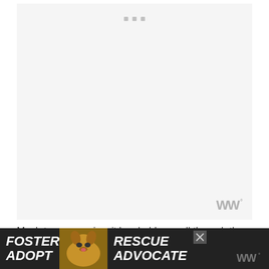[Figure (photo): Large light gray image placeholder area with three small gray square dots at the top center, and a watermark logo at the bottom right corner]
Much to my surprise, it has held up well through the us... pieces,
[Figure (other): Advertisement banner: FOSTER ADOPT | dog photo | RESCUE ADVOCATE with close button and watermark]